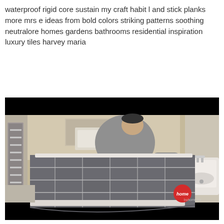waterproof rigid core sustain my craft habit l and stick planks more mrs e ideas from bold colors striking patterns soothing neutralore homes gardens bathrooms residential inspiration luxury tiles harvey maria
[Figure (photo): Video screenshot of a person in a bathroom applying or unrolling a large grey tile-patterned vinyl/contact sheet over a bathtub surround area. A heated towel rail is visible on the left, a sink on the right. A red 'home' logo watermark appears in the lower right corner.]